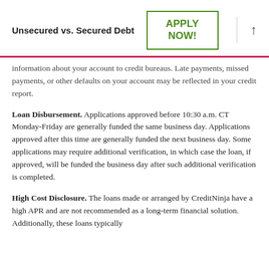Unsecured vs. Secured Debt
information about your account to credit bureaus. Late payments, missed payments, or other defaults on your account may be reflected in your credit report.
Loan Disbursement. Applications approved before 10:30 a.m. CT Monday-Friday are generally funded the same business day. Applications approved after this time are generally funded the next business day. Some applications may require additional verification, in which case the loan, if approved, will be funded the business day after such additional verification is completed.
High Cost Disclosure. The loans made or arranged by CreditNinja have a high APR and are not recommended as a long-term financial solution. Additionally, these loans typically